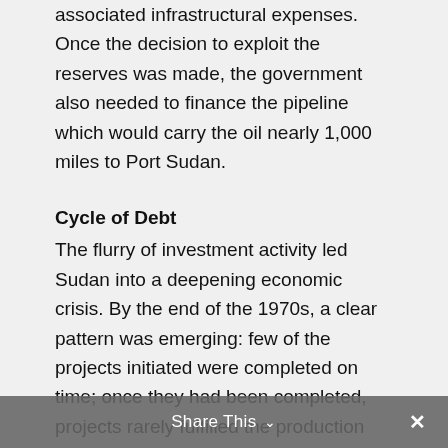government was responsible for some of the associated infrastructural expenses. Once the decision to exploit the reserves was made, the government also needed to finance the pipeline which would carry the oil nearly 1,000 miles to Port Sudan.
Cycle of Debt
The flurry of investment activity led Sudan into a deepening economic crisis. By the end of the 1970s, a clear pattern was emerging: few of the projects initiated were completed on time; once they had been completed, projects rarely fulfilled the production targets set for them; meanwhile, the output from established agricultural schemes and industries gradually declined. Gross domestic product actually
Share This ∨  ✕